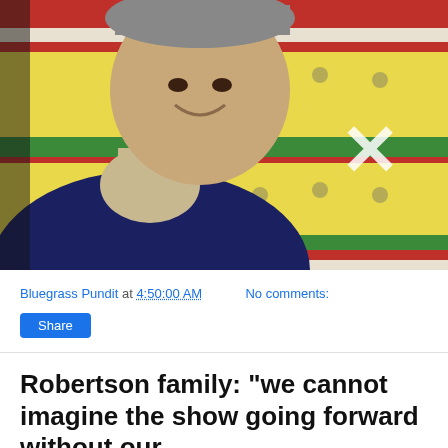[Figure (photo): A smiling young man wearing a dark navy blue sweater and a cap, seated in front of a colorful patterned fabric backdrop with red, white, yellow stripes and cartoon character prints. A white X overlay appears on the upper right portion of the image.]
Bluegrass Pundit at 4:50:00 AM   No comments:
Share
Robertson family: "we cannot imagine the show going forward without our